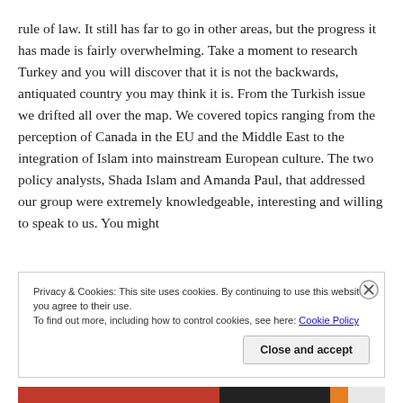rule of law. It still has far to go in other areas, but the progress it has made is fairly overwhelming. Take a moment to research Turkey and you will discover that it is not the backwards, antiquated country you may think it is. From the Turkish issue we drifted all over the map. We covered topics ranging from the perception of Canada in the EU and the Middle East to the integration of Islam into mainstream European culture. The two policy analysts, Shada Islam and Amanda Paul, that addressed our group were extremely knowledgeable, interesting and willing to speak to us. You might
Privacy & Cookies: This site uses cookies. By continuing to use this website, you agree to their use.
To find out more, including how to control cookies, see here: Cookie Policy